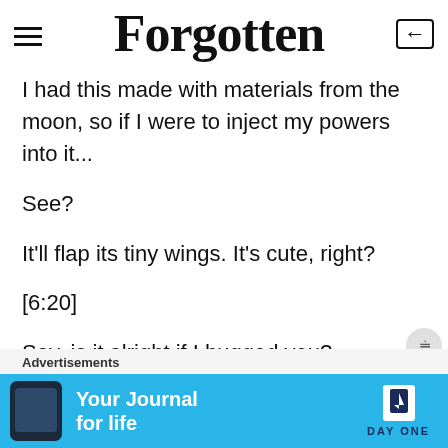Forgotten
I had this made with materials from the moon, so if I were to inject my powers into it...
See?
It'll flap its tiny wings. It's cute, right?
[6:20]
Say, is it alright if I hugged you?
[Figure (screenshot): Advertisement banner: 'Your Journal for life' DayOne app ad with phone mockup on blue background]